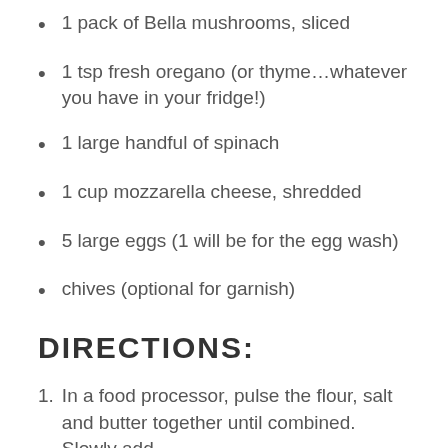1 pack of Bella mushrooms, sliced
1 tsp fresh oregano (or thyme…whatever you have in your fridge!)
1 large handful of spinach
1 cup mozzarella cheese, shredded
5 large eggs (1 will be for the egg wash)
chives (optional for garnish)
DIRECTIONS:
In a food processor, pulse the flour, salt and butter together until combined.  Slowly add the icing cold water and pulse until it forms a…